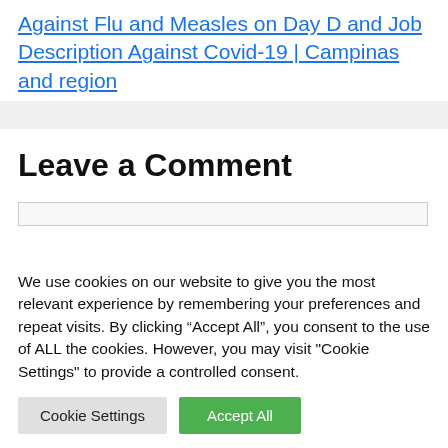Against Flu and Measles on Day D and Job Description Against Covid-19 | Campinas and region
Leave a Comment
We use cookies on our website to give you the most relevant experience by remembering your preferences and repeat visits. By clicking “Accept All”, you consent to the use of ALL the cookies. However, you may visit "Cookie Settings" to provide a controlled consent.